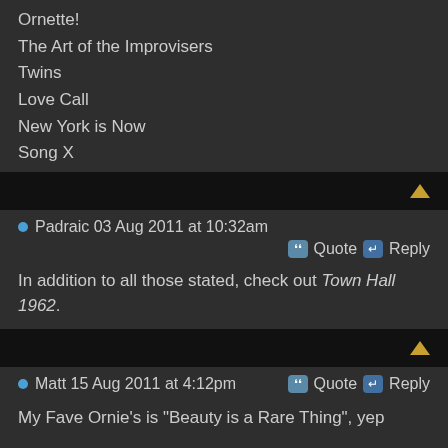Ornette!
The Art of the Improvisers
Twins
Love Call
New York is Now
Song X
Padraic 03 Aug 2011 at 10:32am  Quote  Reply
In addition to all those stated, check out Town Hall 1962.
Matt 15 Aug 2011 at 4:12pm  Quote  Reply
My Fave Ornie's is "Beauty is a Rare Thing", yep